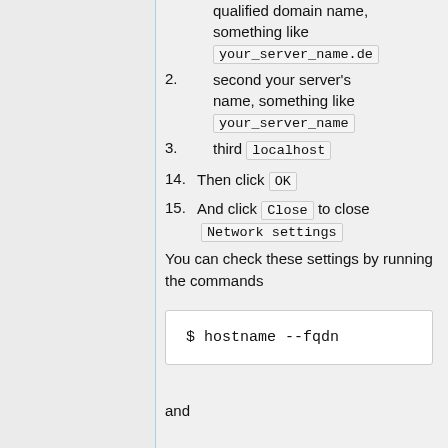2. second your server's name, something like your_server_name
3. third localhost
14. Then click OK
15. And click Close to close Network settings
You can check these settings by running the commands
$ hostname --fqdn
and